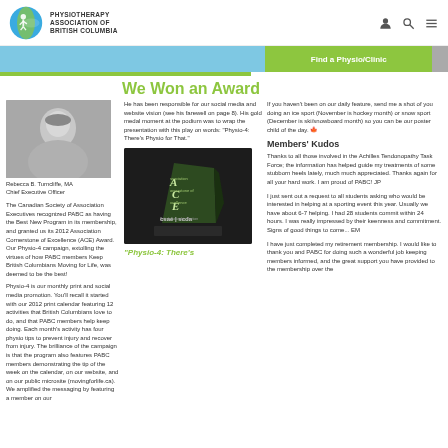PHYSIOTHERAPY ASSOCIATION OF BRITISH COLUMBIA
[Figure (logo): PABC circular logo with figure and leaf]
We Won an Award
[Figure (photo): Black and white headshot photo of Rebecca B. Turncliffe, MA, Chief Executive Officer]
Rebecca B. Turncliffe, MA
Chief Executive Officer
The Canadian Society of Association Executives recognized PABC as having the Best New Program in its membership, and granted us its 2012 Association Cornerstone of Excellence (ACE) Award. Our Physio-4 campaign, extolling the virtues of how PABC members Keep British Columbians Moving for Life, was deemed to be the best!
Physio-4 is our monthly print and social media promotion. You'll recall it started with our 2012 print calendar featuring 12 activities that British Columbians love to do, and that PABC members help keep doing. Each month's activity has four physio tips to prevent injury and recover from injury. The brilliance of the campaign is that the program also features PABC members demonstrating the tip of the week on the calendar, on our website, and on our public microsite (movingforlife.ca). We amplified the messaging by featuring a member on our
He has been responsible for our social media and website vision (see his farewell on page 8). His gold medal moment at the podium was to wrap the presentation with this play on words: "Physio-4: There's Physio for That."
[Figure (photo): ACE Award trophy – Association Cornerstone of Excellence award with csae | scda logo, awarded to Rebecca Turncliffe, Physiotherapy Association of BC, Best Program, 2012]
"Physio-4: There's
If you haven't been on our daily feature, send me a shot of you doing an ice sport (November is hockey month) or snow sport (December is ski/snowboard month) so you can be our poster child of the day.
Members' Kudos
Thanks to all those involved in the Achilles Tendonopathy Task Force; the information has helped guide my treatments of some stubborn heels lately, much much appreciated. Thanks again for all your hard work. I am proud of PABC!  JP
I just sent out a request to all students asking who would be interested in helping at a sporting event this year. Usually we have about 6-7 helping. I had 28 students commit within 24 hours. I was really impressed by their keenness and commitment.  Signs of good things to come...  EM
I have just completed my retirement membership. I would like to thank you and PABC for doing such a wonderful job keeping members informed, and the great support you have provided to the membership over the